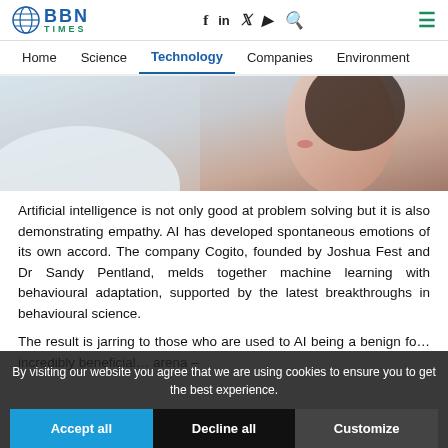BBN TIMES — Home | Science | Technology | Companies | Environment
[Figure (photo): Close-up side profile of a woman looking upward, wearing a white garment, against a blurred background — article hero image about AI and emotions]
Artificial intelligence is not only good at problem solving but it is also demonstrating empathy. AI has developed spontaneous emotions of its own accord. The company Cogito, founded by Joshua Fest and Dr Sandy Pentland, melds together machine learning with behavioural adaptation, supported by the latest breakthroughs in behavioural science.
The result is jarring to those who are used to AI being a benign fo... incredibly beneficial... arena –
By visiting our website you agree that we are using cookies to ensure you to get the best experience.